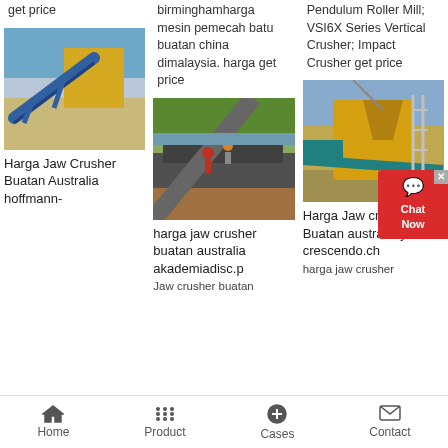get price
birminghamharga mesin pemecah batu buatan china dimalaysia. harga get price
Pendulum Roller Mill; VSI6X Series Vertical Crusher; Impact Crusher get price
[Figure (photo): Industrial conveyor belt system with yellow building in background, desert/arid setting]
[Figure (photo): Workers on a jaw crusher/screening machine at a quarry site near water]
[Figure (photo): Yellow jaw crusher machine at a construction/mining site]
Harga Jaw Crusher Buatan Australia hoffmann-
harga jaw crusher buatan australia akademiadisc.p
Harga Jaw crusher Buatan australia y-crescendo.ch
Jaw crusher buatan
harga jaw crusher